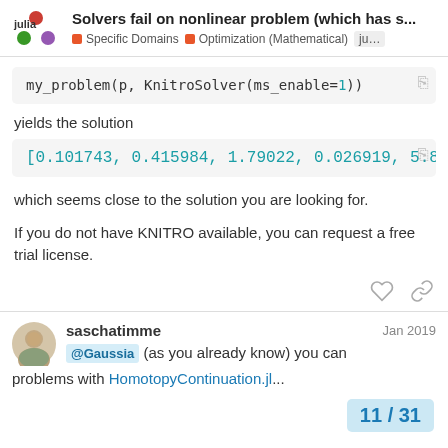Solvers fail on nonlinear problem (which has s... | Specific Domains | Optimization (Mathematical) | ju...
my_problem(p, KnitroSolver(ms_enable=1))
yields the solution
[0.101743, 0.415984, 1.79022, 0.026919, 5.84...
which seems close to the solution you are looking for.
If you do not have KNITRO available, you can request a free trial license.
saschatimme Jan 2019
@Gaussia (as you already know) you can... problems with HomotopyContinuation.jl...